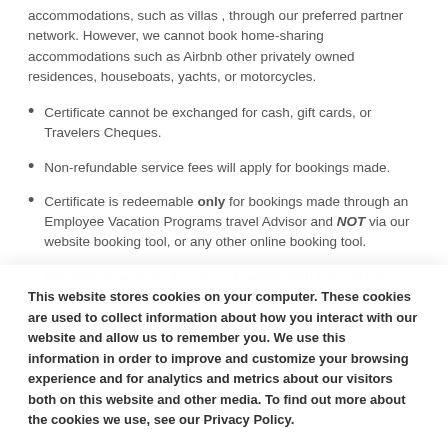accommodations, such as villas , through our preferred partner network. However, we cannot book home-sharing accommodations such as Airbnb other privately owned residences, houseboats, yachts, or motorcycles.
Certificate cannot be exchanged for cash, gift cards, or Travelers Cheques.
Non-refundable service fees will apply for bookings made.
Certificate is redeemable only for bookings made through an Employee Vacation Programs travel Advisor and NOT via our website booking tool, or any other online booking tool.
Recipient may apply the Gift of Travel toward the purchase
This website stores cookies on your computer. These cookies are used to collect information about how you interact with our website and allow us to remember you. We use this information in order to improve and customize your browsing experience and for analytics and metrics about our visitors both on this website and other media. To find out more about the cookies we use, see our Privacy Policy.